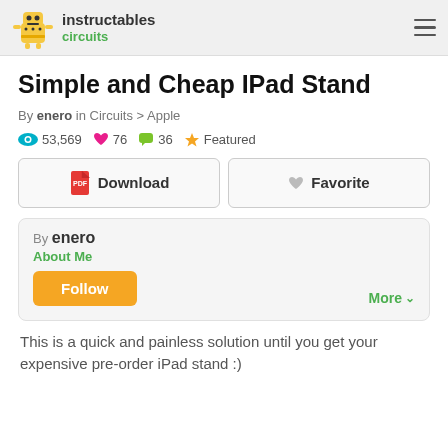instructables circuits
Simple and Cheap IPad Stand
By enero in Circuits > Apple
53,569 views  76 favorites  36 comments  Featured
Download  Favorite
By enero
About Me
Follow
More
This is a quick and painless solution until you get your expensive pre-order iPad stand :)